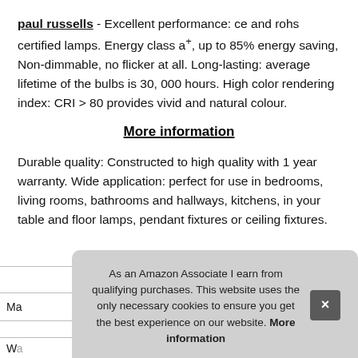paul russells - Excellent performance: ce and rohs certified lamps. Energy class a+, up to 85% energy saving, Non-dimmable, no flicker at all. Long-lasting: average lifetime of the bulbs is 30, 000 hours. High color rendering index: CRI > 80 provides vivid and natural colour.
More information
Durable quality: Constructed to high quality with 1 year warranty. Wide application: perfect for use in bedrooms, living rooms, bathrooms and hallways, kitchens, in your table and floor lamps, pendant fixtures or ceiling fixtures.
As an Amazon Associate I earn from qualifying purchases. This website uses the only necessary cookies to ensure you get the best experience on our website. More information